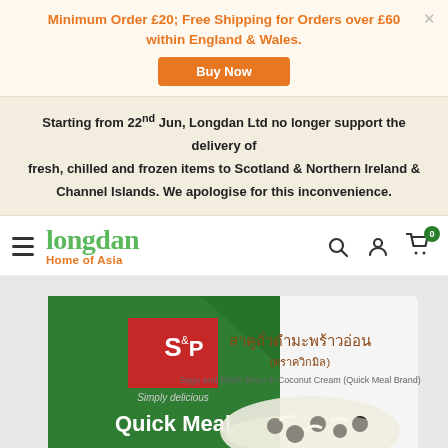Minimum Order £20; Free Shipping for Orders over £60 within England & Wales.
Buy Now
Starting from 22nd Jun, Longdan Ltd no longer support the delivery of fresh, chilled and frozen items to Scotland & Northern Ireland & Channel Islands. We apologise for this inconvenience.
[Figure (logo): Longdan Home of Asia logo with hamburger menu, search, account, and cart icons]
[Figure (photo): S&P Quick Meal product box - Sago and Black Bean in Coconut Cream. Green box with Thai text and product image showing sago, black beans in coconut cream.]